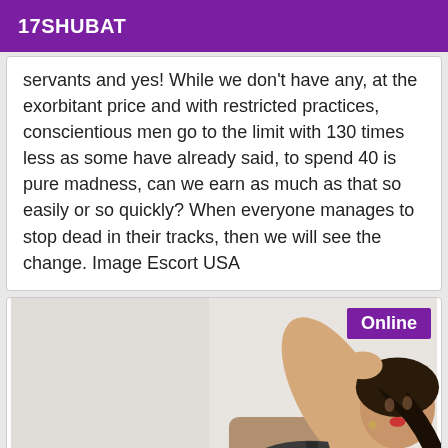17SHUBAT
servants and yes! While we don't have any, at the exorbitant price and with restricted practices, conscientious men go to the limit with 130 times less as some have already said, to spend 40 is pure madness, can we earn as much as that so easily or so quickly? When everyone manages to stop dead in their tracks, then we will see the change. Image Escort USA
[Figure (photo): Woman with dark hair posing with hand raised to head, wearing dark top, with 'Online' badge in top right corner]